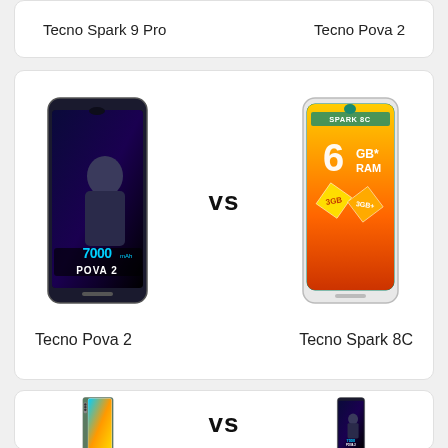Tecno Spark 9 Pro
Tecno Pova 2
[Figure (photo): Comparison card showing Tecno Pova 2 phone image on left vs Tecno Spark 8C phone image on right, with VS text in center]
Tecno Pova 2
Tecno Spark 8C
[Figure (photo): Partial comparison card showing Tecno Camon phone image on left vs Tecno Pova 2 phone image on right, with VS text in center]